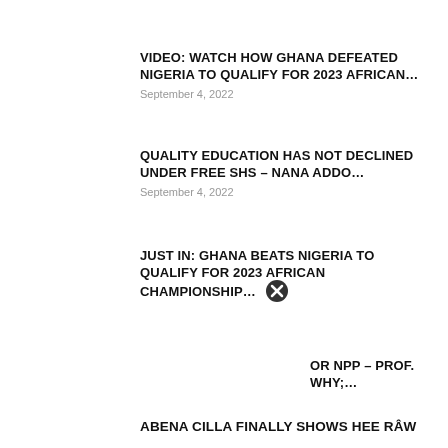VIDEO: WATCH HOW GHANA DEFEATED NIGERIA TO QUALIFY FOR 2023 AFRICAN…
September 4, 2022
QUALITY EDUCATION HAS NOT DECLINED UNDER FREE SHS – NANA ADDO…
September 4, 2022
JUST IN: GHANA BEATS NIGERIA TO QUALIFY FOR 2023 AFRICAN CHAMPIONSHIP…
OR NPP – PROF. WHY;…
ABENA CILLA FINALLY SHOWS HEE RÂW